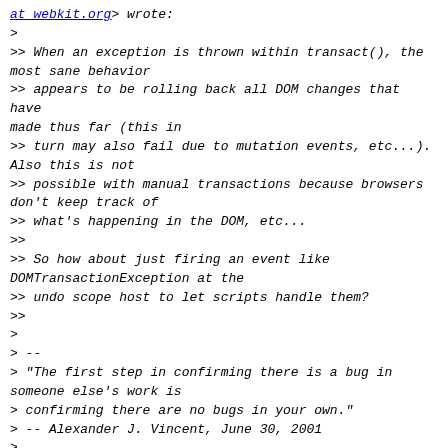<a href="at webkit.org">at webkit.org</a>> wrote:
>
>> When an exception is thrown within transact(), the most sane behavior
>> appears to be rolling back all DOM changes that have made thus far (this in
>> turn may also fail due to mutation events, etc...). Also this is not
>> possible with manual transactions because browsers don't keep track of
>> what's happening in the DOM, etc...
>>
>> So how about just firing an event like DOMTransactionException at the
>> undo scope host to let scripts handle them?
>>
>
> --
> "The first step in confirming there is a bug in someone else's work is
> confirming there are no bugs in your own."
> -- Alexander J. Vincent, June 30, 2001
>



--
"The first step in confirming there is a bug in someone else's work is
confirming there are no bugs in your own."